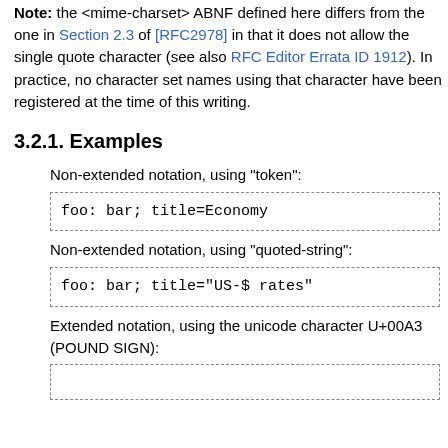Note: the <mime-charset> ABNF defined here differs from the one in Section 2.3 of [RFC2978] in that it does not allow the single quote character (see also RFC Editor Errata ID 1912). In practice, no character set names using that character have been registered at the time of this writing.
3.2.1. Examples
Non-extended notation, using "token":
foo: bar; title=Economy
Non-extended notation, using "quoted-string":
foo: bar; title="US-$ rates"
Extended notation, using the unicode character U+00A3 (POUND SIGN):